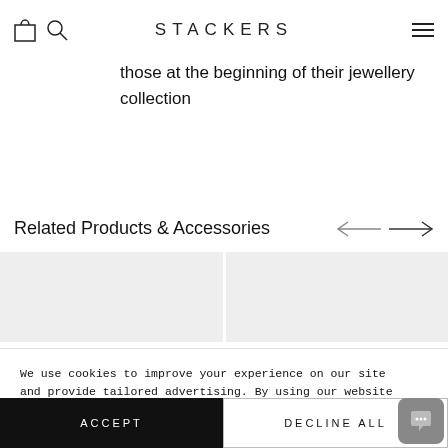STACKERS
those at the beginning of their jewellery collection
Related Products & Accessories
[Figure (photo): Two product thumbnail images side by side, light grey placeholder backgrounds]
We use cookies to improve your experience on our site and provide tailored advertising. By using our website you consent to all cookies in accordance with our Cookie Policy. Read more
SHOW DETAILS
ACCEPT
DECLINE ALL